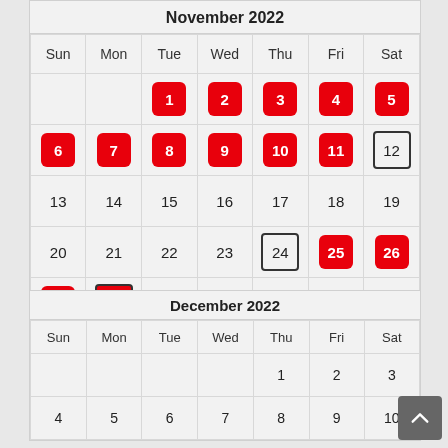November 2022
| Sun | Mon | Tue | Wed | Thu | Fri | Sat |
| --- | --- | --- | --- | --- | --- | --- |
|  |  | 1 | 2 | 3 | 4 | 5 |
| 6 | 7 | 8 | 9 | 10 | 11 | 12 |
| 13 | 14 | 15 | 16 | 17 | 18 | 19 |
| 20 | 21 | 22 | 23 | 24 | 25 | 26 |
| 27 | 28 | 29 | 30 |  |  |  |
December 2022
| Sun | Mon | Tue | Wed | Thu | Fri | Sat |
| --- | --- | --- | --- | --- | --- | --- |
|  |  |  |  | 1 | 2 | 3 |
| 4 | 5 | 6 | 7 | 8 | 9 | 10 |